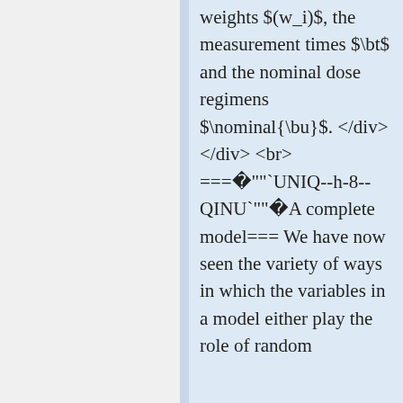weights $(w_i)$, the measurement times $\bt$ and the nominal dose regimens $\nominal{\bu}$. </div> </div> <br> === ""UNIQ--h-8--QINU`"" A complete model=== We have now seen the variety of ways in which the variables in a model either play the role of random